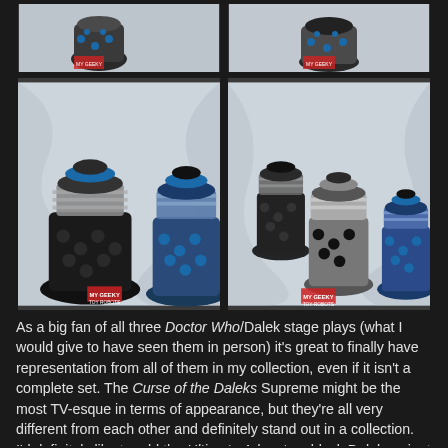[Figure (photo): Top left: partial photo of Dalek toy figurines with blue domes on white/grey background, with My Geeky Toy Robots watermark]
[Figure (photo): Top right: partial photo of Dalek toy figurines on white/grey background, with My Geeky Toy Robots watermark]
[Figure (photo): Bottom left: close-up photo of two Dalek toy figurines (black and silver/grey) with blue dome spheres on white/grey marbled background, with My Geeky Toy Robots watermark]
[Figure (photo): Bottom right: photo of three Dalek toy figurines (black, silver, blue) on white/grey marbled background, with My Geeky Toy Robots watermark]
As a big fan of all three Doctor Who/Dalek stage plays (what I would give to have seen them in person) it's great to finally have representation from all of them in my collection, even if it isn't a complete set. The Curse of the Daleks Supreme might be the most TV-esque in terms of appearance, but they're all very different from each other and definitely stand out in a collection. I'd definitely like to add the Ultimate Adventure black Dalek variant to the ranks too one day, but for now this is a pretty fine trio that pays homage to one of